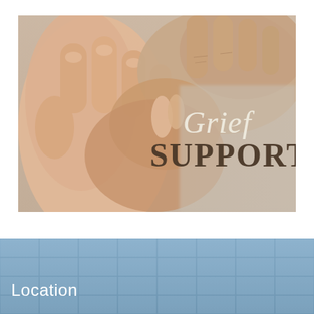[Figure (photo): A photograph of two hands clasped together — one younger and one older — suggesting comfort and support. Text overlay reads 'Grief' in an italic script style and 'SUPPORT' in bold serif capitals beneath it.]
Location